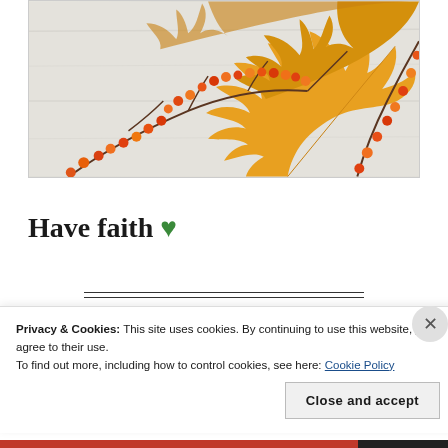[Figure (photo): Autumn flat lay photo showing orange and yellow maple leaves, bare twigs with red and orange berries, arranged on a light grey/white wooden surface background.]
Have faith 💚
Privacy & Cookies: This site uses cookies. By continuing to use this website, you agree to their use.
To find out more, including how to control cookies, see here: Cookie Policy